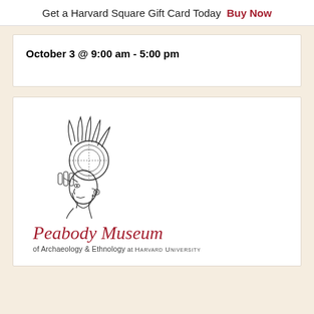Get a Harvard Square Gift Card Today  Buy Now
October 3 @ 9:00 am - 5:00 pm
[Figure (logo): Peabody Museum of Archaeology & Ethnology at Harvard University logo — line drawing of a Mesoamerican figure profile wearing an elaborate headdress, with text 'Peabody Museum of Archaeology & Ethnology at Harvard University' below.]